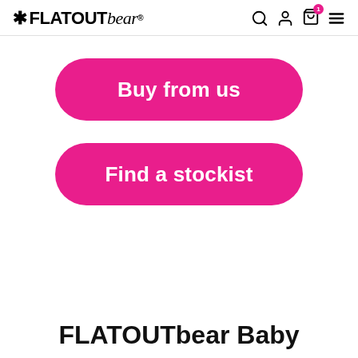FLATOUTbear — navigation header with logo and icons
Buy from us
Find a stockist
FLATOUTbear Baby